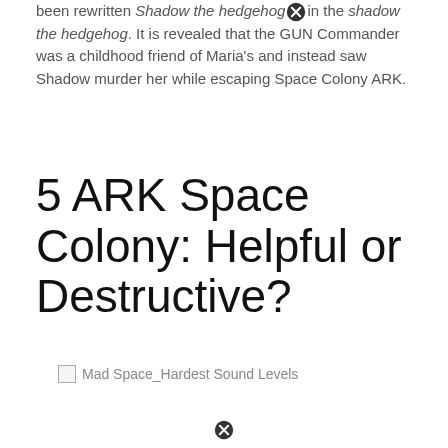been rewritten Shadow the hedgehog in the shadow the hedgehog. It is revealed that the GUN Commander was a childhood friend of Maria's and instead saw Shadow murder her while escaping Space Colony ARK.
5 ARK Space Colony: Helpful or Destructive?
[Figure (other): Broken image placeholder with alt text: Mad Space_Hardest Sound Levels]